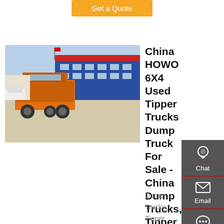Get a Quote
[Figure (photo): Orange HOWO dump truck parked at a dealership lot with buildings in background]
China HOWO 6X4 Used Tipper Trucks Dump Truck For Sale - China Dump Trucks, Tipper Trucks
Dump Trucks, Tipper Trucks HOWO Dump Truck manufacturer / supplier in China, offering HOWO 6X4 Used Tipper Trucks Dump Truck for Sale, Fence Used Trucks Heavy Duty HOWO 6X4 Cargo Truck, 60ton